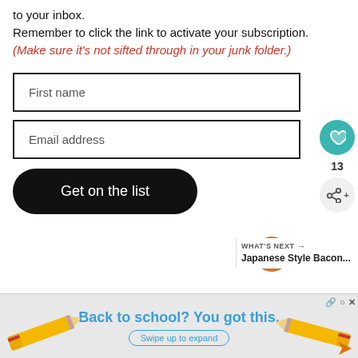to your inbox. Remember to click the link to activate your subscription. (Make sure it's not sifted through in your junk folder.)
[Figure (other): First name input field form element]
[Figure (other): Email address input field form element]
[Figure (other): Get on the list button black rounded]
[Figure (other): Sidebar with teal heart like button showing 13 count and share button]
[Figure (other): Whats Next promo showing Japanese Style Bacon... with food thumbnail]
[Figure (other): Advertisement banner: Back to school? You got this. with pencils and swipe up to expand button]